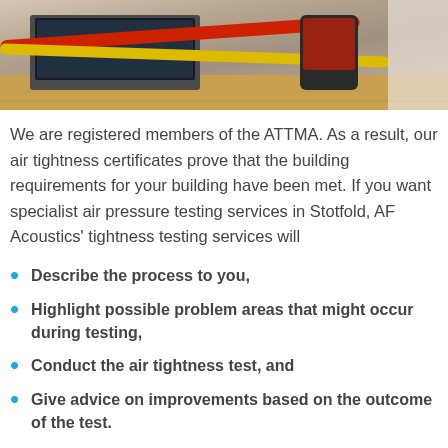[Figure (photo): Photo of a laptop, testing device, and red/yellow cables on a wooden surface — air tightness testing equipment setup]
We are registered members of the ATTMA. As a result, our air tightness certificates prove that the building requirements for your building have been met. If you want specialist air pressure testing services in Stotfold, AF Acoustics' tightness testing services will
Describe the process to you,
Highlight possible problem areas that might occur during testing,
Conduct the air tightness test, and
Give advice on improvements based on the outcome of the test.